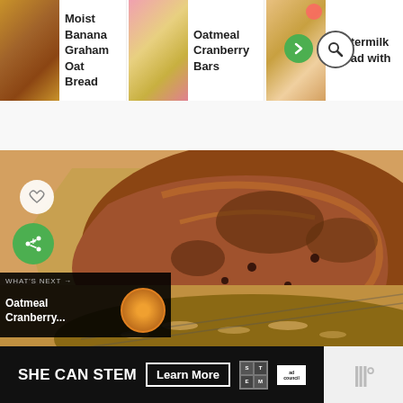[Figure (screenshot): Website navigation bar showing recipe thumbnails: Moist Banana Graham Oat Bread, Oatmeal Cranberry Bars, Buttermilk [something] Bread with navigation next and search icons]
Moist Banana Graham Oat Bread
Oatmeal Cranberry Bars
Buttermilk Bread with
[Figure (photo): Close-up photo of rustic artisan bread on a wire rack with parchment paper, showing golden-brown crusty top with inclusions. Below it is an oatmeal-topped bread loaf. Heart and share buttons visible on left side. 'What's Next: Oatmeal Cranberry...' overlay in bottom left.]
WHAT'S NEXT → Oatmeal Cranberry...
[Figure (screenshot): Advertisement banner: SHE CAN STEM Learn More, with STEM logo grid and ad council logo. Right side shows partially visible logo in white area.]